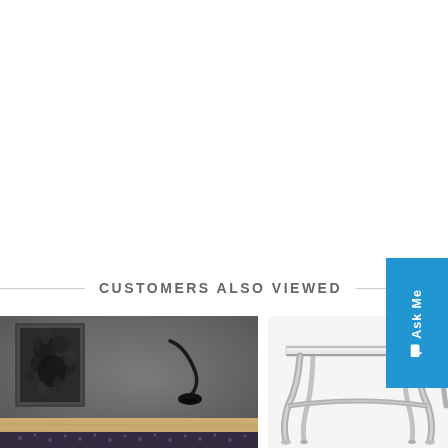CUSTOMERS ALSO VIEWED
[Figure (photo): A bedroom interior with dark grey concrete-look walls, a framed black and white floral artwork, a curved black wall-mounted reading lamp, and a wooden bed frame with patterned bedding.]
[Figure (photo): A modern console table with a white glass or marble top and polished chrome curved legs in a classic style.]